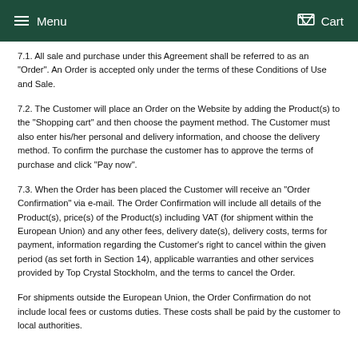Menu   Cart
7.1. All sale and purchase under this Agreement shall be referred to as an "Order". An Order is accepted only under the terms of these Conditions of Use and Sale.
7.2. The Customer will place an Order on the Website by adding the Product(s) to the "Shopping cart" and then choose the payment method. The Customer must also enter his/her personal and delivery information, and choose the delivery method. To confirm the purchase the customer has to approve the terms of purchase and click "Pay now".
7.3. When the Order has been placed the Customer will receive an "Order Confirmation" via e-mail. The Order Confirmation will include all details of the Product(s), price(s) of the Product(s) including VAT (for shipment within the European Union) and any other fees, delivery date(s), delivery costs, terms for payment, information regarding the Customer's right to cancel within the given period (as set forth in Section 14), applicable warranties and other services provided by Top Crystal Stockholm, and the terms to cancel the Order.
For shipments outside the European Union, the Order Confirmation do not include local fees or customs duties. These costs shall be paid by the customer to local authorities.